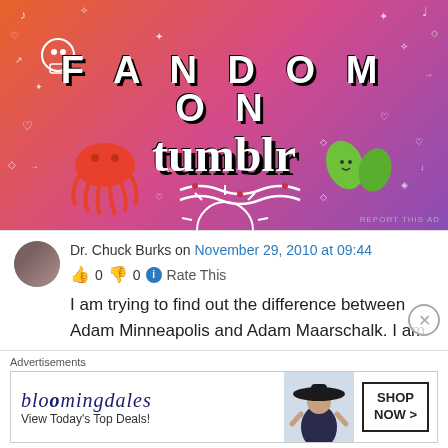[Figure (illustration): Colorful Fandom on Tumblr advertisement banner with gradient orange-pink-purple background, white doodles of skulls, music notes, hearts, octopus, leaves, and bold text reading FANDOM ON tumblr]
Dr. Chuck Burks on November 29, 2010 at 09:44
👍 0 👎 0 ℹ Rate This
I am trying to find out the difference between Adam Minneapolis and Adam Maarschalk. I am
Advertisements
[Figure (screenshot): Bloomingdale's advertisement: logo, View Today's Top Deals!, woman with hat, SHOP NOW > button]